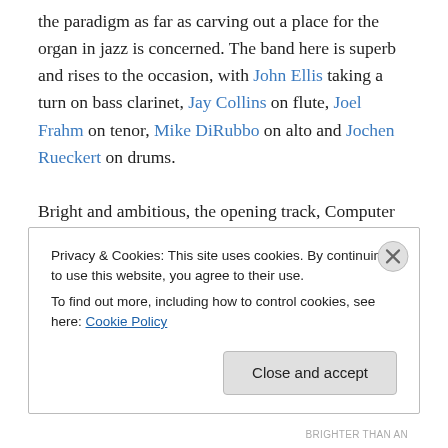the paradigm as far as carving out a place for the organ in jazz is concerned. The band here is superb and rises to the occasion, with John Ellis taking a turn on bass clarinet, Jay Collins on flute, Joel Frahm on tenor, Mike DiRubbo on alto and Jochen Rueckert on drums.
Bright and ambitious, the opening track, Computer God sets the tone, the organ against punchy punctuation from ensemble horns over a bossa beat that morphs into a vivid dichotomy between wicked chromatic chorus and a tricky, circular, riff-driven verse. Charette’s use of the organ’s
Privacy & Cookies: This site uses cookies. By continuing to use this website, you agree to their use.
To find out more, including how to control cookies, see here: Cookie Policy
Close and accept